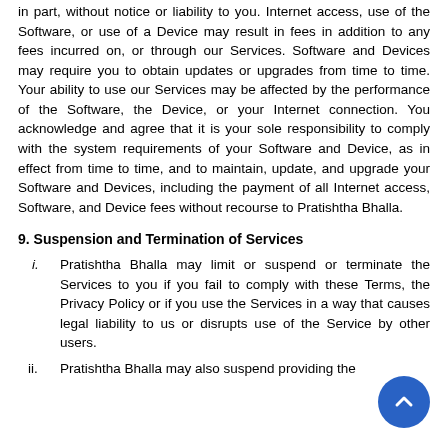in part, without notice or liability to you. Internet access, use of the Software, or use of a Device may result in fees in addition to any fees incurred on, or through our Services. Software and Devices may require you to obtain updates or upgrades from time to time. Your ability to use our Services may be affected by the performance of the Software, the Device, or your Internet connection. You acknowledge and agree that it is your sole responsibility to comply with the system requirements of your Software and Device, as in effect from time to time, and to maintain, update, and upgrade your Software and Devices, including the payment of all Internet access, Software, and Device fees without recourse to Pratishtha Bhalla.
9. Suspension and Termination of Services
i. Pratishtha Bhalla may limit or suspend or terminate the Services to you if you fail to comply with these Terms, the Privacy Policy or if you use the Services in a way that causes legal liability to us or disrupts use of the Service by other users.
ii. Pratishtha Bhalla may also suspend providing the